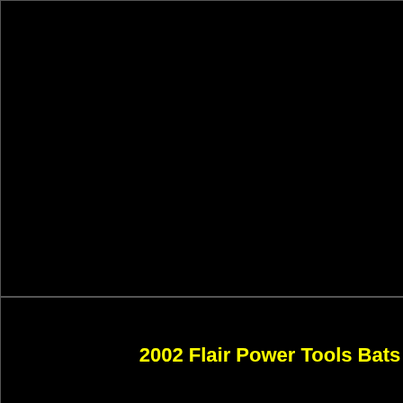[Figure (photo): Black image panel top-left]
[Figure (photo): Black image panel top-right (partially visible)]
2002 Flair Power Tools Bats
2002 Topps Heritage
[Figure (photo): Black image panel bottom-left]
[Figure (photo): Black image panel bottom-right (partially visible)]